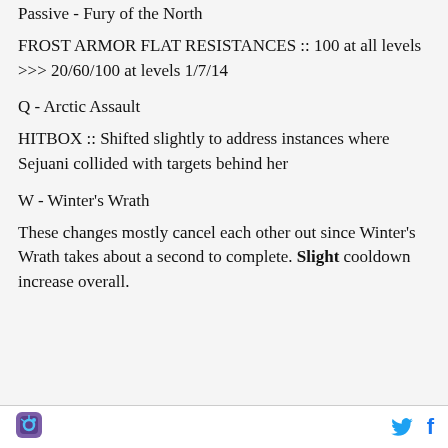Passive - Fury of the North
FROST ARMOR FLAT RESISTANCES :: 100 at all levels >>> 20/60/100 at levels 1/7/14
Q - Arctic Assault
HITBOX :: Shifted slightly to address instances where Sejuani collided with targets behind her
W - Winter's Wrath
These changes mostly cancel each other out since Winter's Wrath takes about a second to complete. Slight cooldown increase overall.
[app icon] [twitter icon] [facebook icon]